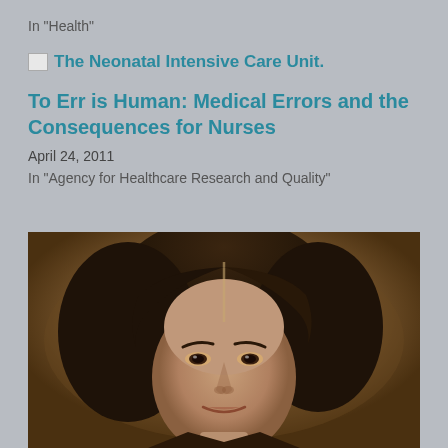In "Health"
The Neonatal Intensive Care Unit.
To Err is Human: Medical Errors and the Consequences for Nurses
April 24, 2011
In "Agency for Healthcare Research and Quality"
[Figure (photo): Sepia-toned vintage portrait photograph of a young woman with dark hair parted in the middle, looking directly at camera]